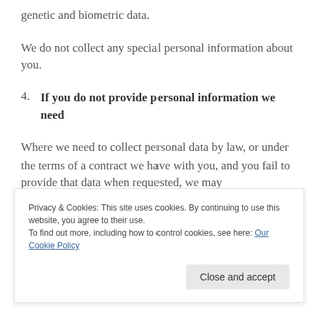genetic and biometric data.
We do not collect any special personal information about you.
4. If you do not provide personal information we need
Where we need to collect personal data by law, or under the terms of a contract we have with you, and you fail to provide that data when requested, we may
Privacy & Cookies: This site uses cookies. By continuing to use this website, you agree to their use.
To find out more, including how to control cookies, see here: Our Cookie Policy
The bases on which we process information about you